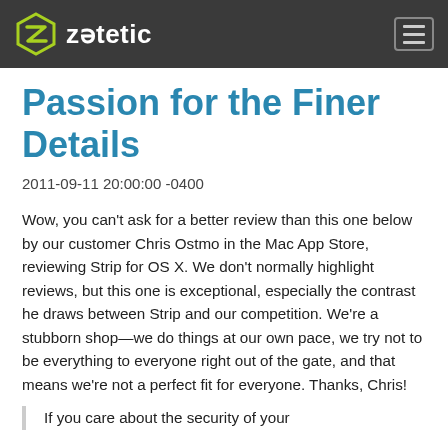zetetic
Passion for the Finer Details
2011-09-11 20:00:00 -0400
Wow, you can't ask for a better review than this one below by our customer Chris Ostmo in the Mac App Store, reviewing Strip for OS X. We don't normally highlight reviews, but this one is exceptional, especially the contrast he draws between Strip and our competition. We're a stubborn shop—we do things at our own pace, we try not to be everything to everyone right out of the gate, and that means we're not a perfect fit for everyone. Thanks, Chris!
If you care about the security of your